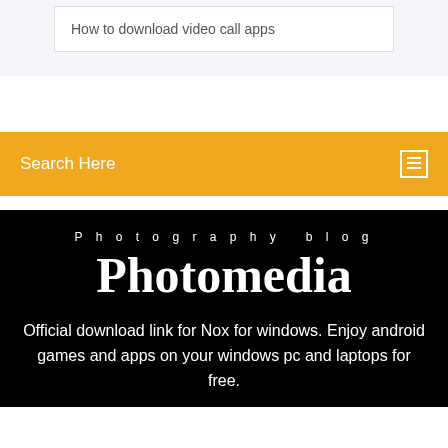How to download video call apps
Search Here
Photography blog
Photomedia
Official download link for Nox for windows. Enjoy android games and apps on your windows pc and laptops for free.